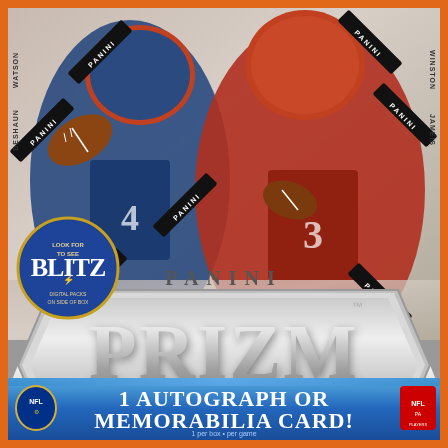[Figure (photo): Panini Prizm NFL football trading card box featuring Deshaun Watson (left, in Houston Texans navy blue uniform #4) and Jameis Winston (right, in Tampa Bay Buccaneers red uniform #3) as quarterbacks. Orange border frame surrounds the box. Multiple black diagonal PANINI security stickers across the image. Blue circular Blitz logo on left side. Large silver PRIZM logo in lower center. Blue banner at bottom reads '1 AUTOGRAPH OR MEMORABILIA CARD!' with NFL and NFLPA logos.]
DESHAUN WATSON
JAMEIS WINSTON
BLITZ
LOOK FOR TO SEE
DIGITAL PACKS ON SIDE OF BOX
PANINI
PRIZM
1 AUTOGRAPH OR MEMORABILIA CARD!
1 per box • per game